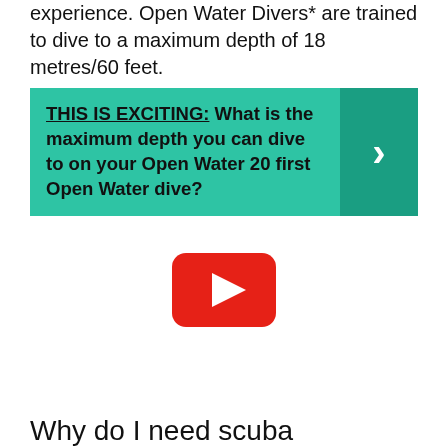experience. Open Water Divers* are trained to dive to a maximum depth of 18 metres/60 feet.
[Figure (infographic): Teal call-out box with text 'THIS IS EXCITING: What is the maximum depth you can dive to on your Open Water 20 first Open Water dive?' and a darker teal arrow chevron on the right side.]
[Figure (screenshot): YouTube play button (red rounded rectangle with white triangle play icon).]
Why do I need scuba